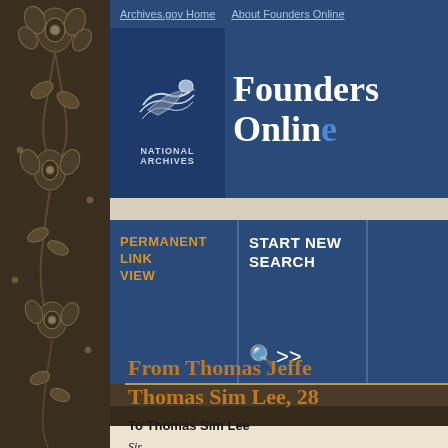[Figure (illustration): Decorative dark brown floral/paisley pattern on left panel]
[Figure (logo): National Archives eagle logo with text NATIONAL ARCHIVES]
Archives.gov Home   About Founders Online
Founders Online
PERMANENT LINK VIEW
START NEW SEARCH
From Thomas Jefferson to Thomas Sim Lee, 28
To Thomas Sim Lee
Sir